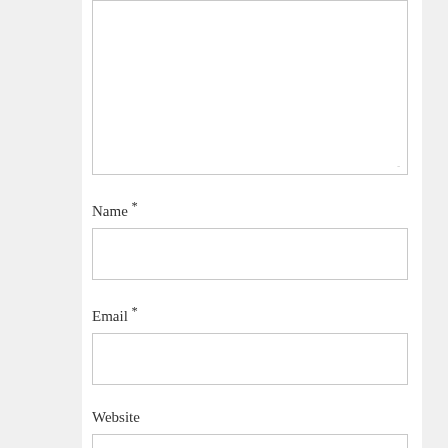[Figure (screenshot): A web comment form showing a large textarea (mostly cut off at top), followed by labeled input fields: Name *, Email *, and Website, each with a rectangular text input box.]
Name *
Email *
Website